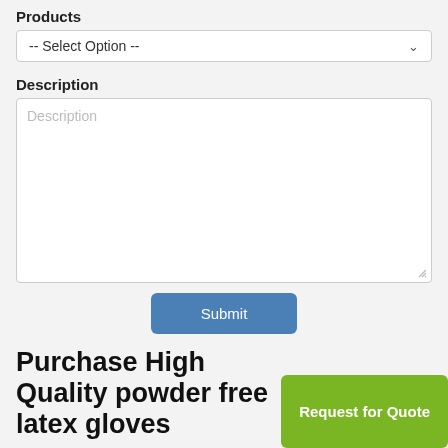Products
[Figure (screenshot): Dropdown select field with placeholder text '-- Select Option --' and a chevron arrow on the right]
Description
[Figure (screenshot): Large textarea input box with placeholder text 'Description' and a resize handle at bottom right]
[Figure (screenshot): Blue Submit button centered on page]
Purchase High Quality powder free latex gloves
[Figure (screenshot): Green 'Request for Quote' button on the right side]